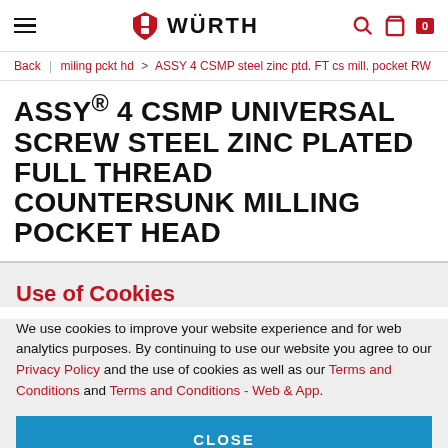Würth header navigation
Back | miling pckt hd > ASSY 4 CSMP steel zinc ptd. FT cs mill. pocket RW
ASSY® 4 CSMP UNIVERSAL SCREW STEEL ZINC PLATED FULL THREAD COUNTERSUNK MILLING POCKET HEAD
Use of Cookies
We use cookies to improve your website experience and for web analytics purposes. By continuing to use our website you agree to our Privacy Policy and the use of cookies as well as our Terms and Conditions and Terms and Conditions - Web & App.
CLOSE